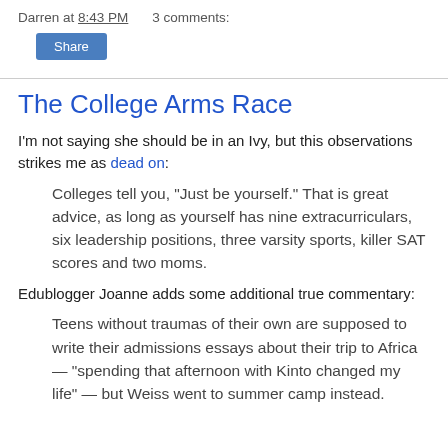Darren at 8:43 PM    3 comments:
Share
The College Arms Race
I'm not saying she should be in an Ivy, but this observations strikes me as dead on:
Colleges tell you, “Just be yourself.” That is great advice, as long as yourself has nine extracurriculars, six leadership positions, three varsity sports, killer SAT scores and two moms.
Edublogger Joanne adds some additional true commentary:
Teens without traumas of their own are supposed to write their admissions essays about their trip to Africa — “spending that afternoon with Kinto changed my life” — but Weiss went to summer camp instead.